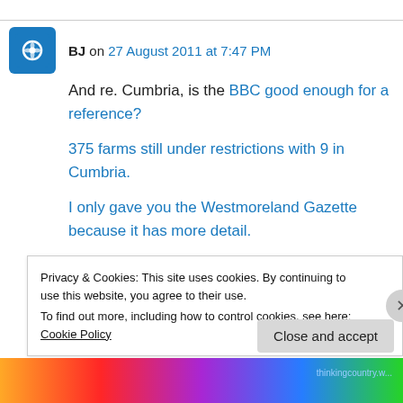BJ on 27 August 2011 at 7:47 PM
And re. Cumbria, is the BBC good enough for a reference?
375 farms still under restrictions with 9 in Cumbria.
I only gave you the Westmoreland Gazette because it has more detail.
Like
Privacy & Cookies: This site uses cookies. By continuing to use this website, you agree to their use.
To find out more, including how to control cookies, see here: Cookie Policy
Close and accept